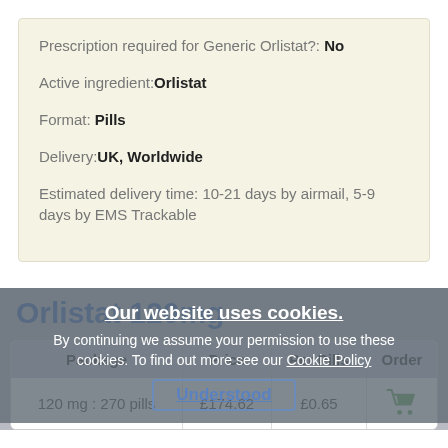Prescription required for Generic Orlistat?: No
Active ingredient: Orlistat
Format: Pills
Delivery: UK, Worldwide
Estimated delivery time: 10-21 days by airmail, 5-9 days by EMS Trackable
Our website uses cookies. By continuing we assume your permission to use these cookies. To find out more see our Cookie Policy
Understood
Orlistat 120mg
| Package | Price | Per Pills | Order |
| --- | --- | --- | --- |
| 120 mg : 270 pills | £174.62 | £0.65 | [cart] |